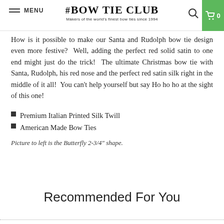MENU | THE BOW TIE CLUB Makers of the world's finest bow ties since 1994 | 0
How is it possible to make our Santa and Rudolph bow tie design even more festive?  Well, adding the perfect red solid satin to one end might just do the trick!  The ultimate Christmas bow tie with Santa, Rudolph, his red nose and the perfect red satin silk right in the middle of it all!  You can't help yourself but say Ho ho ho at the sight of this one!
Premium Italian Printed Silk Twill
American Made Bow Ties
Picture to left is the Butterfly 2-3/4" shape.
Recommended For You